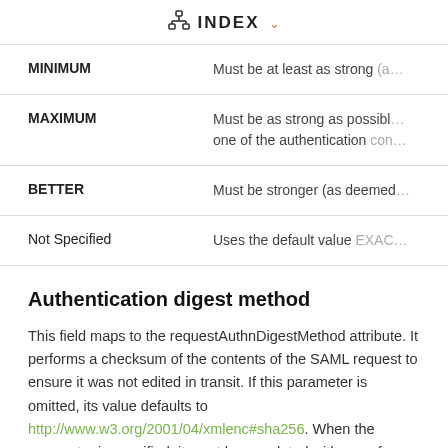INDEX
| Key | Value |
| --- | --- |
| MINIMUM | Must be at least as strong (a… |
| MAXIMUM | Must be as strong as possibl… one of the authentication con… |
| BETTER | Must be stronger (as deemed… |
| Not Specified | Uses the default value EXAC… |
Authentication digest method
This field maps to the requestAuthnDigestMethod attribute. It performs a checksum of the contents of the SAML request to ensure it was not edited in transit. If this parameter is omitted, its value defaults to http://www.w3.org/2001/04/xmlenc#sha256. When the parameter is specified, it must be populated with any of…